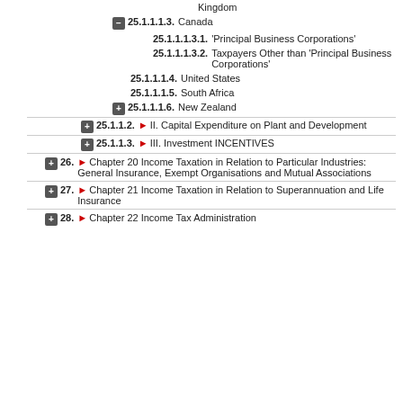Kingdom
25.1.1.1.3. Canada
25.1.1.1.3.1. 'Principal Business Corporations'
25.1.1.1.3.2. Taxpayers Other than 'Principal Business Corporations'
25.1.1.1.4. United States
25.1.1.1.5. South Africa
25.1.1.1.6. New Zealand
25.1.1.2. II. Capital Expenditure on Plant and Development
25.1.1.3. III. Investment INCENTIVES
26. Chapter 20 Income Taxation in Relation to Particular Industries: General Insurance, Exempt Organisations and Mutual Associations
27. Chapter 21 Income Taxation in Relation to Superannuation and Life Insurance
28. Chapter 22 Income Tax Administration